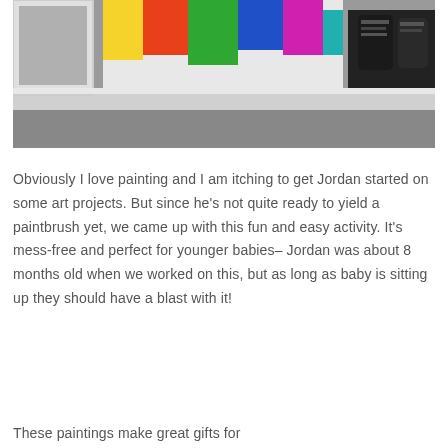[Figure (photo): A shelf or surface with a picture frame on the left, colorful painted artwork in the center-back, and small black shoes/sneakers on the right. The surface appears gray/silver.]
Obviously I love painting and I am itching to get Jordan started on some art projects. But since he's not quite ready to yield a paintbrush yet, we came up with this fun and easy activity. It's mess-free and perfect for younger babies– Jordan was about 8 months old when we worked on this, but as long as baby is sitting up they should have a blast with it!
These paintings make great gifts for